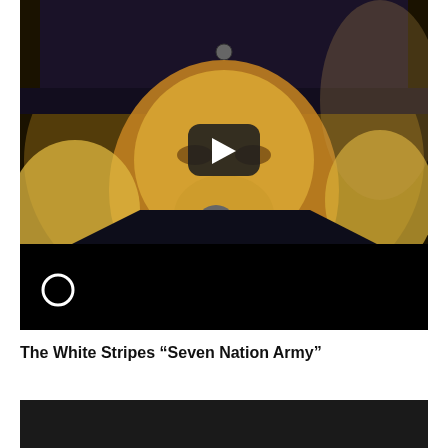[Figure (screenshot): YouTube video thumbnail showing a person with a dark hat holding a microphone close to their face, with a YouTube play button overlay in the center. There is a black bar at the bottom of the video frame and a small circle icon in the lower left.]
The White Stripes “Seven Nation Army”
[Figure (screenshot): Bottom portion of another video thumbnail, showing mostly a dark/black background.]